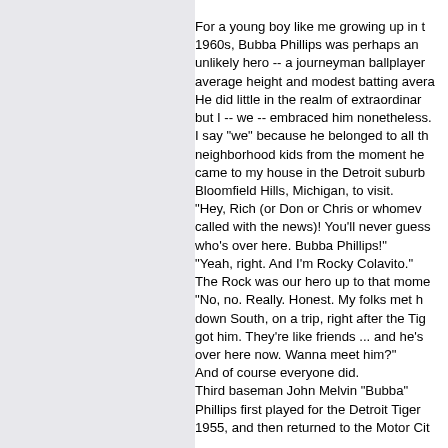For a young boy like me growing up in the 1960s, Bubba Phillips was perhaps an unlikely hero -- a journeyman ballplayer of average height and modest batting average. He did little in the realm of extraordinary, but I -- we -- embraced him nonetheless. I say "we" because he belonged to all the neighborhood kids from the moment he came to my house in the Detroit suburb Bloomfield Hills, Michigan, to visit. "Hey, Rich (or Don or Chris or whomever called with the news)! You'll never guess who's over here. Bubba Phillips!" "Yeah, right. And I'm Rocky Colavito." The Rock was our hero up to that moment. "No, no. Really. Honest. My folks met him down South, on a trip, right after the Tigers got him. They're like friends ... and he's over here now. Wanna meet him?" And of course everyone did. Third baseman John Melvin "Bubba" Phillips first played for the Detroit Tigers in 1955, and then returned to the Motor City...